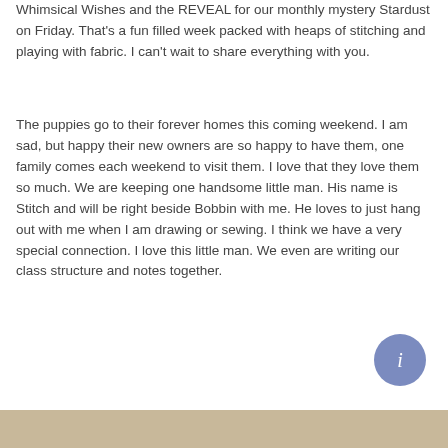Whimsical Wishes and the REVEAL for our monthly mystery Stardust on Friday. That's a fun filled week packed with heaps of stitching and playing with fabric. I can't wait to share everything with you.
The puppies go to their forever homes this coming weekend. I am sad, but happy their new owners are so happy to have them, one family comes each weekend to visit them. I love that they love them so much. We are keeping one handsome little man. His name is Stitch and will be right beside Bobbin with me. He loves to just hang out with me when I am drawing or sewing. I think we have a very special connection. I love this little man. We even are writing our class structure and notes together.
[Figure (photo): Partial view of a photo at the bottom of the page, showing what appears to be a light brown/tan surface, possibly a table or floor.]